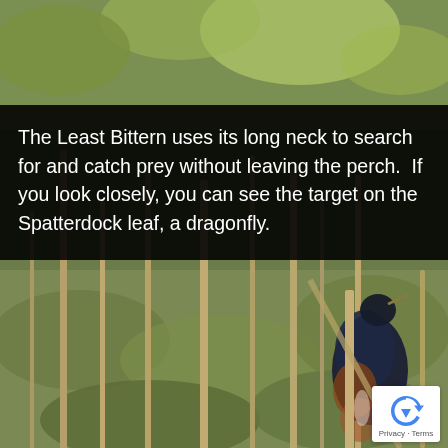[Figure (photo): Photograph of a Least Bittern bird perched on reeds/cattail stems in a marsh, with green lily-pad leaves (Spatterdock) in the background. The bird has dark navy/black plumage on its back and rust-brown coloring. Vertical reed stems visible throughout. A dragonfly is reportedly visible on a Spatterdock leaf.]
The Least Bittern uses its long neck to search for and catch prey without leaving the perch.  If you look closely, you can see the target on the Spatterdock leaf, a dragonfly.
Privacy · Terms